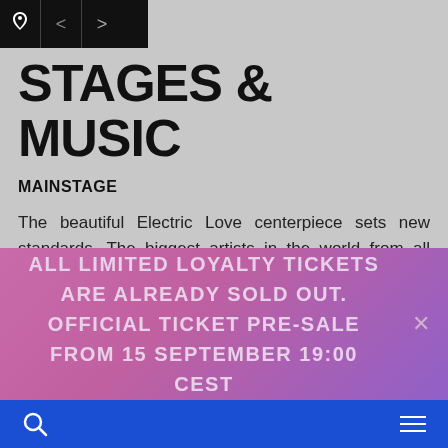< >
STAGES & MUSIC
MAINSTAGE
The beautiful Electric Love centerpiece sets new standards. The biggest artists in the world from all genres play here. The unique Electric Love Mainstage design with natural wood influences is a mixture of technical wonders and colorful aesthetics, and is one-
ALL LIMITED LOYALTY TICKETS ARE ALREADY SOLD OUT. OFFICIAL TICKET PRE-SALE FROM 15 SEPTEMBER 19:00 CEST
search | menu